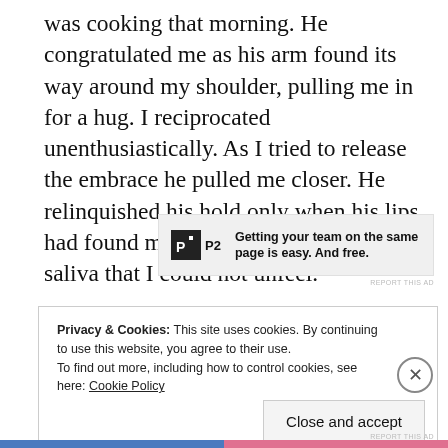was cooking that morning. He congratulated me as his arm found its way around my shoulder, pulling me in for a hug. I reciprocated unenthusiastically. As I tried to release the embrace he pulled me closer. He relinquished his hold only when his lips had found my neck, leaving a trace of saliva that I could not unfeel.
[Figure (infographic): P2 advertisement banner: logo box with 'P2' text, slogan reading 'Getting your team on the same page is easy. And free.']
Privacy & Cookies: This site uses cookies. By continuing to use this website, you agree to their use.
To find out more, including how to control cookies, see here: Cookie Policy
Close and accept